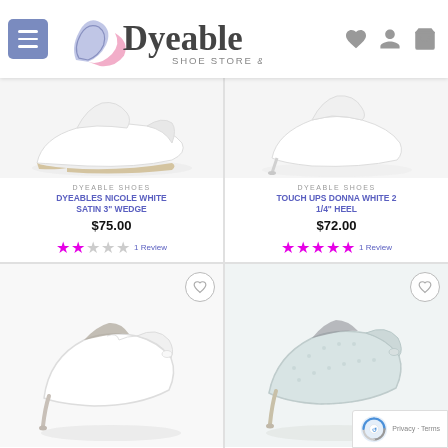Dyeable Shoe Store & More
[Figure (photo): White satin wedge shoe - Dyeables Nicole White Satin 3 inch Wedge]
DYEABLE SHOES
DYEABLES NICOLE WHITE SATIN 3" WEDGE
$75.00
2 stars - 1 Review
[Figure (photo): White heel pump - Touch Ups Donna White 2 1/4 inch Heel]
DYEABLE SHOES
TOUCH UPS DONNA WHITE 2 1/4" HEEL
$72.00
5 stars - 1 Review
[Figure (photo): White peep-toe stiletto pump shoe]
[Figure (photo): Light blue/silver lace pattern peep-toe stiletto pump shoe]